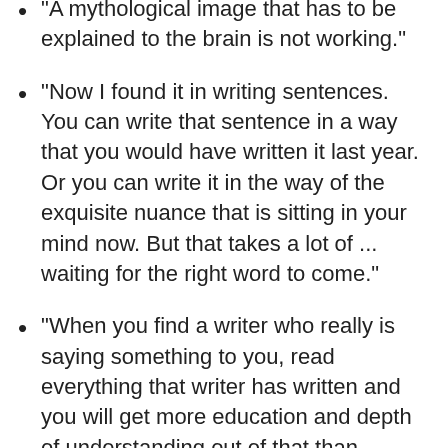“A mythological image that has to be explained to the brain is not working.”
“Now I found it in writing sentences. You can write that sentence in a way that you would have written it last year. Or you can write it in the way of the exquisite nuance that is sitting in your mind now. But that takes a lot of ... waiting for the right word to come.”
“When you find a writer who really is saying something to you, read everything that writer has written and you will get more education and depth of understanding out of that than reading a scrap here and a scrap there and elsewhere. Then go to people who influenced that writer, or those who were related to him, and your world builds together in an organic